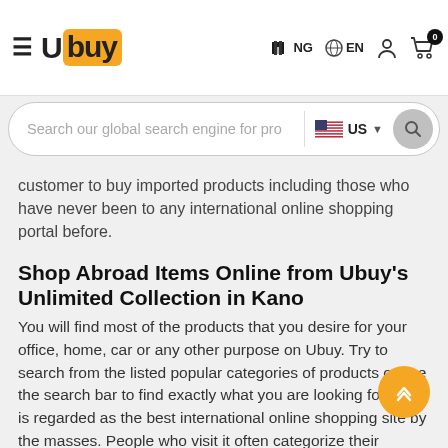[Figure (screenshot): Ubuy website header with logo, hamburger menu, NG flag, EN language selector, user icon, and cart icon with badge showing 0]
[Figure (screenshot): Search bar with placeholder text 'Search our global search engine for pro', US flag dropdown and search button]
customer to buy imported products including those who have never been to any international online shopping portal before.
Shop Abroad Items Online from Ubuy's Unlimited Collection in Kano
You will find most of the products that you desire for your office, home, car or any other purpose on Ubuy. Try to search from the listed popular categories of products or use the search bar to find exactly what you are looking for. Ubuy is regarded as the best international online shopping site by the masses. People who visit it often categorize their shopping experience as fun, entertaining, relaxing and joyful. Ubuy is truly the best overall online shopping store in your Kano that can fulfill all your shopping desires in an easy yet efficient manner.